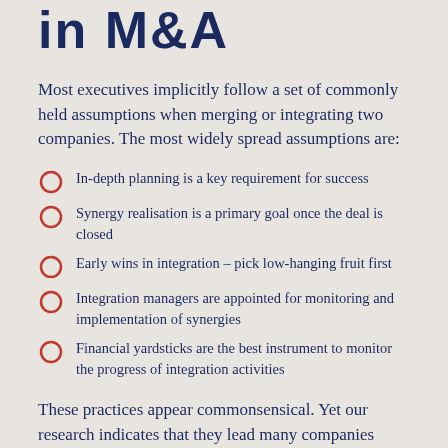in M&A
Most executives implicitly follow a set of commonly held assumptions when merging or integrating two companies. The most widely spread assumptions are:
In-depth planning is a key requirement for success
Synergy realisation is a primary goal once the deal is closed
Early wins in integration – pick low-hanging fruit first
Integration managers are appointed for monitoring and implementation of synergies
Financial yardsticks are the best instrument to monitor the progress of integration activities
These practices appear commonsensical. Yet our research indicates that they lead many companies